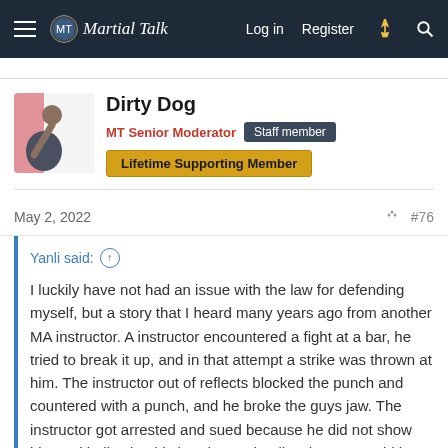Martial Talk — Log in  Register
Dirty Dog
MT Senior Moderator  Staff member
Lifetime Supporting Member
May 2, 2022  #76
Yanli said:
I luckily have not had an issue with the law for defending myself, but a story that I heard many years ago from another MA instructor. A instructor encountered a fight at a bar, he tried to break it up, and in that attempt a strike was thrown at him. The instructor out of reflects blocked the punch and countered with a punch, and he broke the guys jaw. The instructor got arrested and sued because he did not show his card indicating his hands are deadly. The court said he should of shown his card before trying to break up the fight, the court
Click to expand...
Baloney